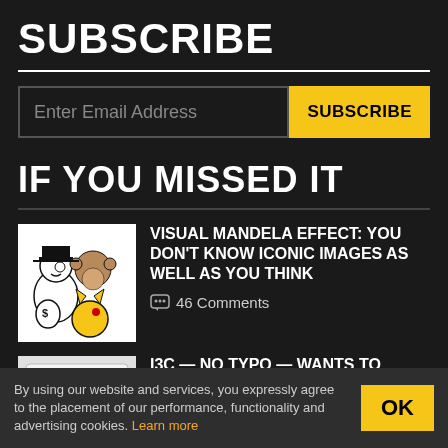SUBSCRIBE
Enter Email Address
SUBSCRIBE
IF YOU MISSED IT
[Figure (illustration): Cartoon collage showing Monopoly man, a monkey character, and Pikachu]
VISUAL MANDELA EFFECT: YOU DON'T KNOW ICONIC IMAGES AS WELL AS YOU THINK
46 Comments
[Figure (illustration): Small thumbnail image with green circular icon on gray/white background]
I3C — NO TYPO — WANTS TO
By using our website and services, you expressly agree to the placement of our performance, functionality and advertising cookies. Learn more
OK